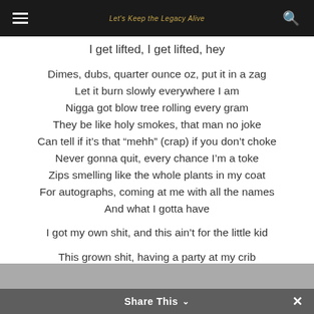Let's Keep the Legacy Alive
I get lifted, I get lifted, hey
Dimes, dubs, quarter ounce oz, put it in a zag
Let it burn slowly everywhere I am
Nigga got blow tree rolling every gram
They be like holy smokes, that man no joke
Can tell if it's that “mehh” (crap) if you don’t choke
Never gonna quit, every chance I’m a toke
Zips smelling like the whole plants in my coat
For autographs, coming at me with all the names
And what I gotta have
I got my own shit, and this ain’t for the little kid
This grown shit, having a party at my crib
Bring your own bitch, I got 3, so matter of fact you can
Share This